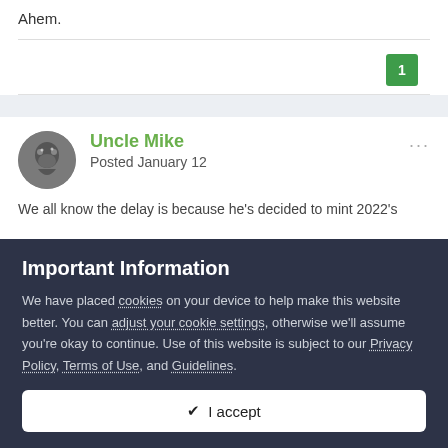Ahem.
1
Uncle Mike
Posted January 12
We all know the delay is because he's decided to mint 2022's
Important Information
We have placed cookies on your device to help make this website better. You can adjust your cookie settings, otherwise we'll assume you're okay to continue. Use of this website is subject to our Privacy Policy, Terms of Use, and Guidelines.
✔ I accept